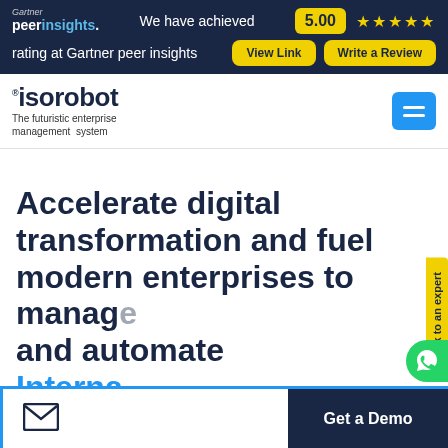Gartner peerinsights. We have achieved 5.00 ★★★★★ rating at Gartner peer insights
[Figure (logo): isorobot logo with tagline: The futuristic enterprise management system]
Accelerate digital transformation and fuel modern enterprises to manage and automate Interna
Get a Demo